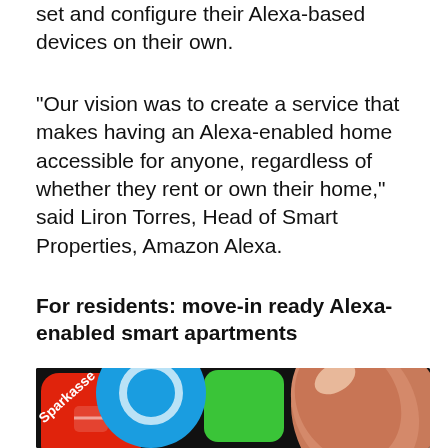set and configure their Alexa-based devices on their own.
“Our vision was to create a service that makes having an Alexa-enabled home accessible for anyone, regardless of whether they rent or own their home,” said Liron Torres, Head of Smart Properties, Amazon Alexa.
For residents: move-in ready Alexa-enabled smart apartments
[Figure (photo): Close-up photo of a finger touching a smartphone screen showing colorful app icons including a red icon, green icon, blue circular icon, and the Sparkasse app label]